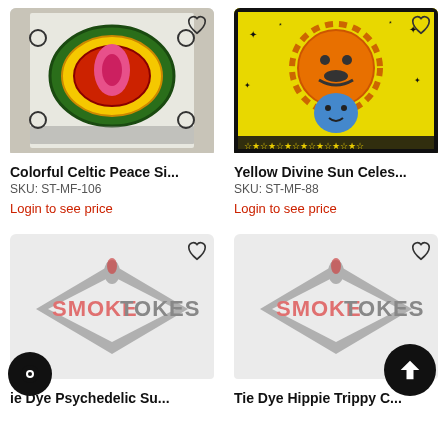[Figure (photo): Colorful Celtic tapestry with mandala pattern in oval shape on white background]
Colorful Celtic Peace Si...
SKU: ST-MF-106
Login to see price
[Figure (photo): Yellow Divine Sun Celestial tapestry with sun and moon face on yellow background with stars]
Yellow Divine Sun Celes...
SKU: ST-MF-88
Login to see price
[Figure (logo): SmokeTokes logo placeholder on light gray background with heart icon]
ie Dye Psychedelic Su...
[Figure (logo): SmokeTokes logo placeholder on light gray background with heart icon and scroll-to-top button]
Tie Dye Hippie Trippy C...